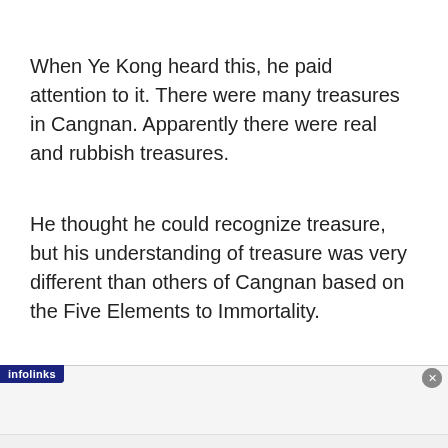When Ye Kong heard this, he paid attention to it. There were many treasures in Cangnan. Apparently there were real and rubbish treasures.
He thought he could recognize treasure, but his understanding of treasure was very different than others of Cangnan based on the Five Elements to Immortality.
[Figure (infographic): M·A·C cosmetics advertisement banner with lipsticks, M·A·C logo, and SHOP NOW button. Infolinks label in top-left corner.]